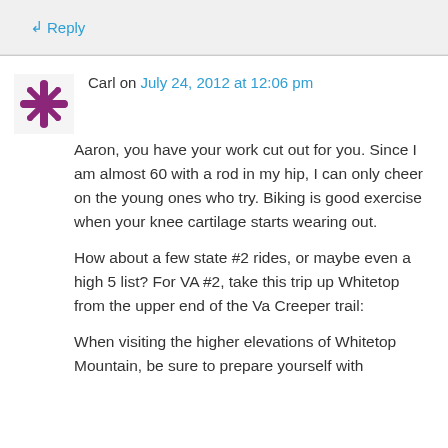↳ Reply
Carl on July 24, 2012 at 12:06 pm
Aaron, you have your work cut out for you. Since I am almost 60 with a rod in my hip, I can only cheer on the young ones who try. Biking is good exercise when your knee cartilage starts wearing out.
How about a few state #2 rides, or maybe even a high 5 list? For VA #2, take this trip up Whitetop from the upper end of the Va Creeper trail:
When visiting the higher elevations of Whitetop Mountain, be sure to prepare yourself with...